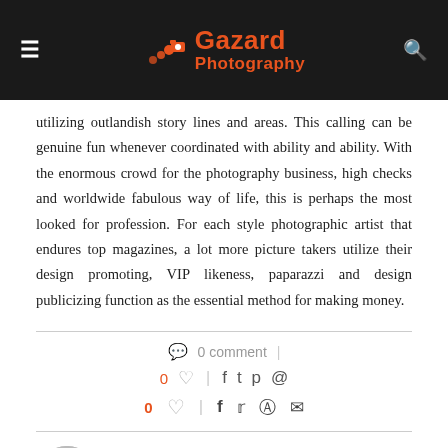Gazard Photography
utilizing outlandish story lines and areas. This calling can be genuine fun whenever coordinated with ability and ability. With the enormous crowd for the photography business, high checks and worldwide fabulous way of life, this is perhaps the most looked for profession. For each style photographic artist that endures top magazines, a lot more picture takers utilize their design promoting, VIP likeness, paparazzi and design publicizing function as the essential method for making money.
0 comment
0
ADMIN